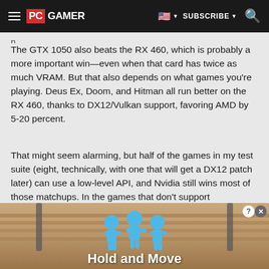PC GAMER | SUBSCRIBE
The GTX 1050 also beats the RX 460, which is probably a more important win—even when that card has twice as much VRAM. But that also depends on what games you're playing. Deus Ex, Doom, and Hitman all run better on the RX 460, thanks to DX12/Vulkan support, favoring AMD by 5-20 percent.
That might seem alarming, but half of the games in my test suite (eight, technically, with one that will get a DX12 patch later) can use a low-level API, and Nvidia still wins most of those matchups. In the games that don't support DX12/Vulkan, the margin of victory is
[Figure (illustration): Advertisement banner showing 'Hold and Move' game/app with blue cartoon figures]